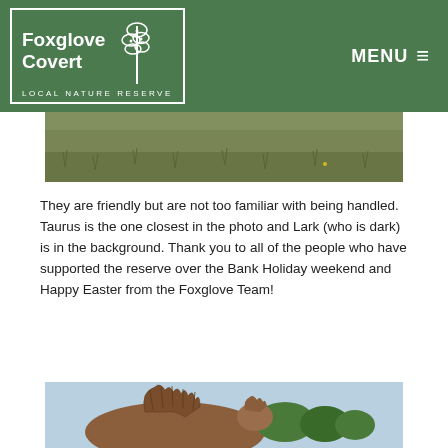Foxglove Covert LOCAL NATURE RESERVE | MENU
[Figure (photo): Partial view of a grassy moorland/heathland landscape]
They are friendly but are not too familiar with being handled. Taurus is the one closest in the photo and Lark (who is dark) is in the background. Thank you to all of the people who have supported the reserve over the Bank Holiday weekend and Happy Easter from the Foxglove Team!
[Figure (photo): Partial view of a shaggy-haired animal (likely a horse or pony) against a sky background]